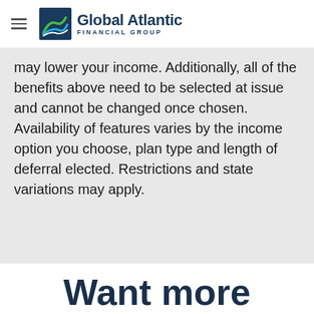Global Atlantic Financial Group
may lower your income. Additionally, all of the benefits above need to be selected at issue and cannot be changed once chosen. Availability of features varies by the income option you choose, plan type and length of deferral elected. Restrictions and state variations may apply.
Want more